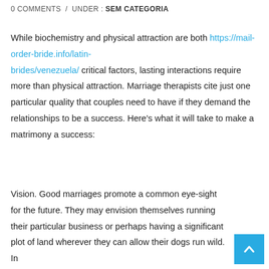0 COMMENTS / UNDER : SEM CATEGORIA
While biochemistry and physical attraction are both https://mail-order-bride.info/latin-brides/venezuela/ critical factors, lasting interactions require more than physical attraction. Marriage therapists cite just one particular quality that couples need to have if they demand the relationships to be a success. Here’s what it will take to make a matrimony a success:
Vision. Good marriages promote a common eye-sight for the future. They may envision themselves running their particular business or perhaps having a significant plot of land wherever they can allow their dogs run wild. In